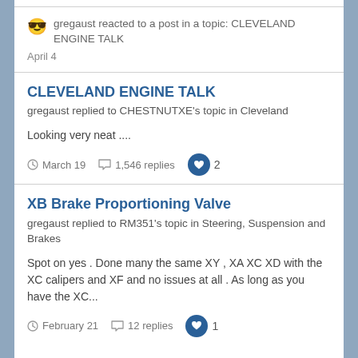gregaust reacted to a post in a topic: CLEVELAND ENGINE TALK
April 4
CLEVELAND ENGINE TALK
gregaust replied to CHESTNUTXE's topic in Cleveland
Looking very neat ....
March 19  1,546 replies  2
XB Brake Proportioning Valve
gregaust replied to RM351's topic in Steering, Suspension and Brakes
Spot on yes . Done many the same XY , XA XC XD with the XC calipers and XF and no issues at all . As long as you have the XC...
February 21  12 replies  1